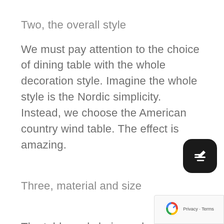Two, the overall style
We must pay attention to the choice of dining table with the whole decoration style. Imagine the whole style is the Nordic simplicity. Instead, we choose the American country wind table. The effect is amazing.
Three, material and size
The table and chair can be divided into steel wood, toughened glass, marble, solid wood, metal and so o...